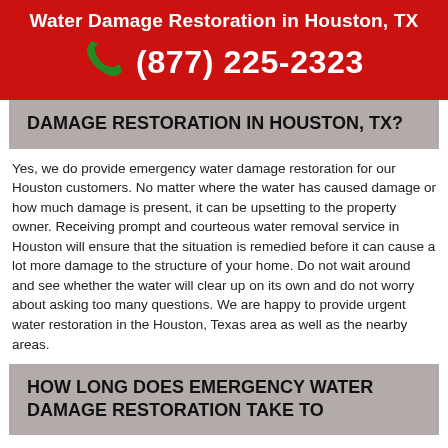Water Damage Restoration in Houston, TX
(877) 225-2323
DAMAGE RESTORATION IN HOUSTON, TX?
Yes, we do provide emergency water damage restoration for our Houston customers. No matter where the water has caused damage or how much damage is present, it can be upsetting to the property owner. Receiving prompt and courteous water removal service in Houston will ensure that the situation is remedied before it can cause a lot more damage to the structure of your home. Do not wait around and see whether the water will clear up on its own and do not worry about asking too many questions. We are happy to provide urgent water restoration in the Houston, Texas area as well as the nearby areas.
HOW LONG DOES EMERGENCY WATER DAMAGE RESTORATION TAKE TO